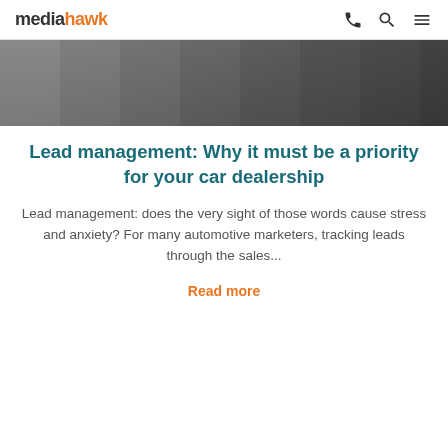mediahawk
[Figure (photo): Close-up photo of automotive tools and car parts on a workshop table, partially visible at the top of the page]
Lead management: Why it must be a priority for your car dealership
Lead management: does the very sight of those words cause stress and anxiety? For many automotive marketers, tracking leads through the sales...
Read more